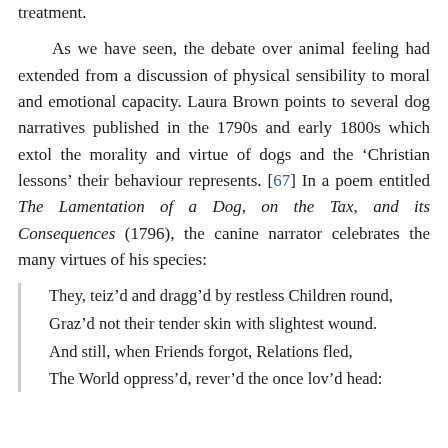treatment.
As we have seen, the debate over animal feeling had extended from a discussion of physical sensibility to moral and emotional capacity. Laura Brown points to several dog narratives published in the 1790s and early 1800s which extol the morality and virtue of dogs and the ‘Christian lessons’ their behaviour represents. [67] In a poem entitled The Lamentation of a Dog, on the Tax, and its Consequences (1796), the canine narrator celebrates the many virtues of his species:
They, teiz’d and dragg’d by restless Children round,
Graz’d not their tender skin with slightest wound.
And still, when Friends forgot, Relations fled,
The World oppress’d, rever’d the once lov’d head: